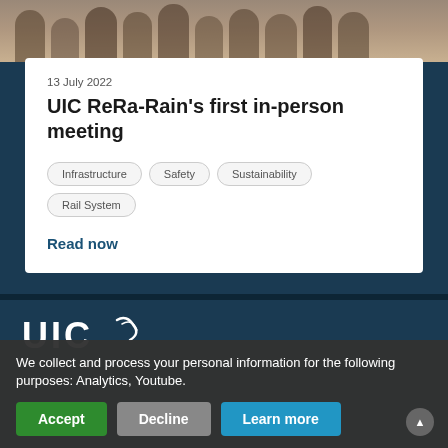[Figure (photo): Group photo of people standing together, partially visible at the top of the page]
13 July 2022
UIC ReRa-Rain's first in-person meeting
Infrastructure
Safety
Sustainability
Rail System
Read now
[Figure (logo): UIC logo in white on dark blue background]
We collect and process your personal information for the following purposes: Analytics, Youtube.
Accept
Decline
Learn more